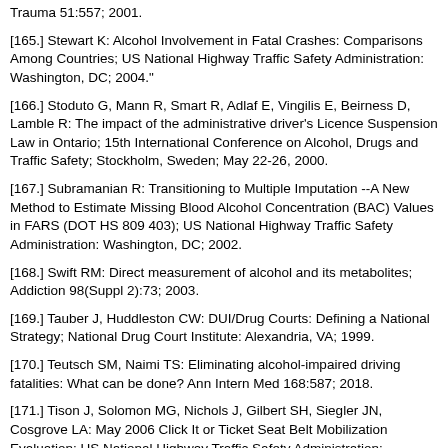Trauma 51:557; 2001.
[165.] Stewart K: Alcohol Involvement in Fatal Crashes: Comparisons Among Countries; US National Highway Traffic Safety Administration: Washington, DC; 2004."
[166.] Stoduto G, Mann R, Smart R, Adlaf E, Vingilis E, Beirness D, Lamble R: The impact of the administrative driver's Licence Suspension Law in Ontario; 15th International Conference on Alcohol, Drugs and Traffic Safety; Stockholm, Sweden; May 22-26, 2000.
[167.] Subramanian R: Transitioning to Multiple Imputation --A New Method to Estimate Missing Blood Alcohol Concentration (BAC) Values in FARS (DOT HS 809 403); US National Highway Traffic Safety Administration: Washington, DC; 2002.
[168.] Swift RM: Direct measurement of alcohol and its metabolites; Addiction 98(Suppl 2):73; 2003.
[169.] Tauber J, Huddleston CW: DUI/Drug Courts: Defining a National Strategy; National Drug Court Institute: Alexandria, VA; 1999.
[170.] Teutsch SM, Naimi TS: Eliminating alcohol-impaired driving fatalities: What can be done? Ann Intern Med 168:587; 2018.
[171.] Tison J, Solomon MG, Nichols J, Gilbert SH, Siegler JN, Cosgrove LA: May 2006 Click It or Ticket Seat Belt Mobilization Evaluation; US National Highway Traffic Safety Administration: Washington, DC; 2008.
[172.] Toomey TL, Rosenfeld C, Wagenaar AC: The minimum legal drinking age: history, effectiveness, and policy. Alcohol Health